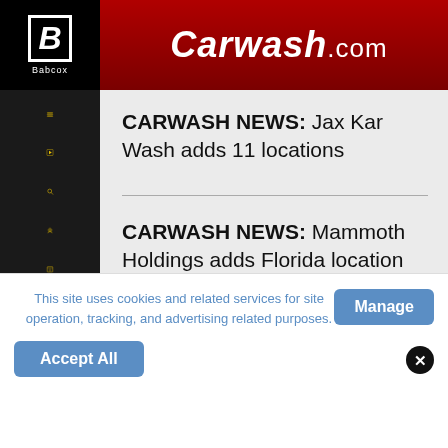Carwash.com
CARWASH NEWS: Jax Kar Wash adds 11 locations
CARWASH NEWS: Mammoth Holdings adds Florida location
This site uses cookies and related services for site operation, tracking, and advertising related purposes.
Manage
Accept All